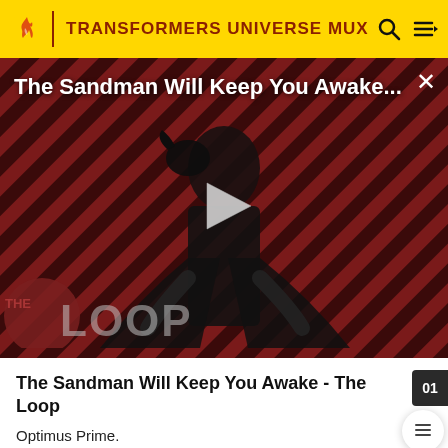TRANSFORMERS UNIVERSE MUX
[Figure (screenshot): Video thumbnail for 'The Sandman Will Keep You Awake...' showing a dark-robed figure against a diagonal red and black striped background with 'THE LOOP' watermark. A white play button triangle is centered. Title overlaid at top.]
The Sandman Will Keep You Awake - The Loop
Optimus Prime.
The location of Hot Rod's mortal remains continues to be unknown.